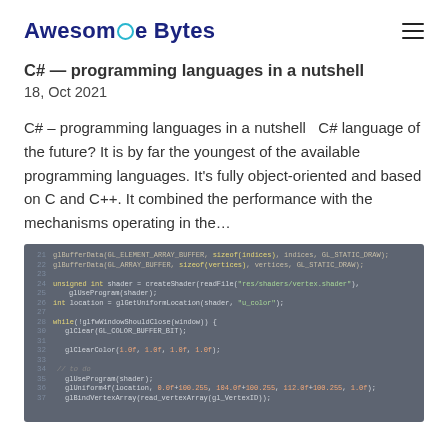Awesome Bytes
C# — programming languages in a nutshell
18, Oct 2021
C# – programming languages in a nutshell   C# language of the future? It is by far the youngest of the available programming languages. It's fully object-oriented and based on C and C++. It combined the performance with the mechanisms operating in the…
[Figure (screenshot): Screenshot of C++ or OpenGL source code in a dark-themed code editor, showing multiple lines of code with line numbers on a dark gray background]